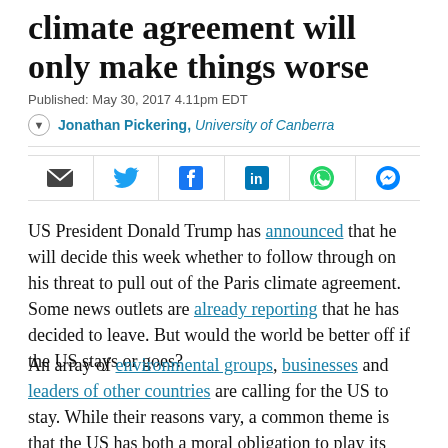climate agreement will only make things worse
Published: May 30, 2017 4.11pm EDT
Jonathan Pickering, University of Canberra
[Figure (other): Social share bar with icons for email, Twitter, Facebook, LinkedIn, WhatsApp, and Messenger]
US President Donald Trump has announced that he will decide this week whether to follow through on his threat to pull out of the Paris climate agreement. Some news outlets are already reporting that he has decided to leave. But would the world be better off if the US stays or goes?
An array of environmental groups, businesses and leaders of other countries are calling for the US to stay. While their reasons vary, a common theme is that the US has both a moral obligation to play its